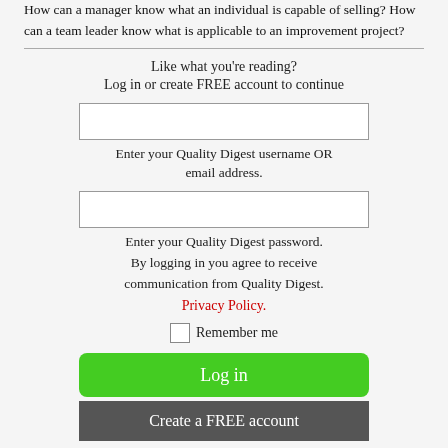How can a manager know what an individual is capable of selling? How can a team leader know what is applicable to an improvement project?
Like what you're reading?
Log in or create FREE account to continue
Enter your Quality Digest username OR email address.
Enter your Quality Digest password.
By logging in you agree to receive communication from Quality Digest.
Privacy Policy.
Remember me
Log in
Create a FREE account